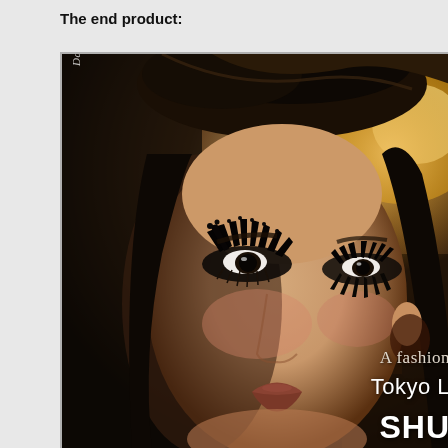The end product:
[Figure (photo): Close-up fashion photograph of a young woman with dramatic black feathered/spiked false eyelashes, dark eye makeup, and styled dark hair, shot against a dark background with warm lighting. A watermark reading 'Darkman' appears vertically on the left side. Text overlays on the lower right include 'A fashion', 'Tokyo L', and 'SHU' in white/light colored text.]